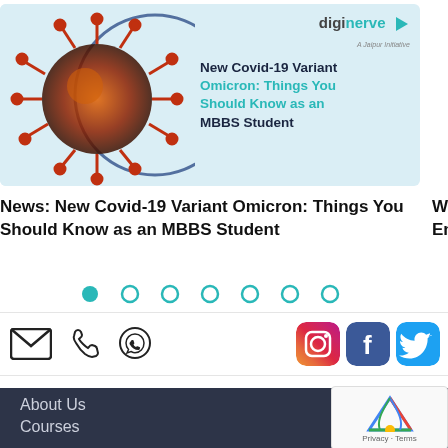[Figure (screenshot): Diginerve educational website card showing a COVID-19 virus illustration on the left and article title on the right with the Diginerve logo]
News: New Covid-19 Variant Omicron: Things You Should Know as an MBBS Student
[Figure (infographic): Carousel navigation dots - 7 dots with the first one filled teal]
[Figure (infographic): Contact icons: email envelope, phone, WhatsApp; Social media icons: Instagram, Facebook, Twitter]
About Us
Courses
Contact Us
Privacy Policy
Terms & Conditions
FAQs